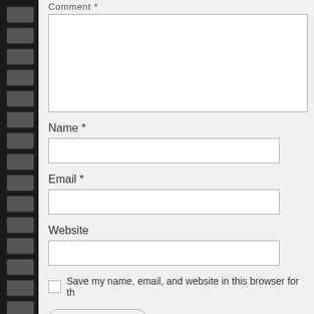Comment *
[Figure (screenshot): Comment textarea input field (empty)]
Name *
[Figure (screenshot): Name text input field (empty)]
Email *
[Figure (screenshot): Email text input field (empty)]
Website
[Figure (screenshot): Website text input field (empty)]
Save my name, email, and website in this browser for th
Post Comment
This site uses Akismet to reduce spam. Learn how your co